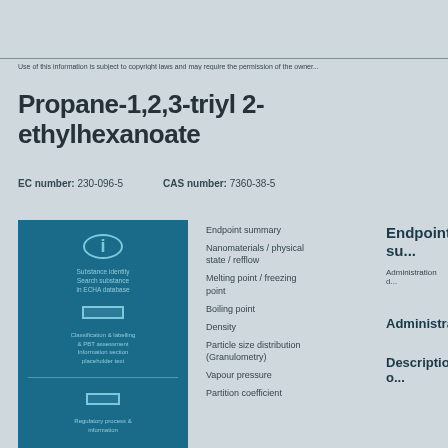Use of this information is subject to copyright laws and may require the permission...
Propane-1,2,3-triyl 2-ethylhexanoate
EC number: 230-096-5   CAS number: 7360-38-5
[Figure (infographic): Teal information panel with circular info icon, substance identity text, square structure icon, classification and labelling information text, divider, regulatory icon, regulatory information text]
Endpoint summary
Nanomaterials / physical state / melting / refflow
Melting point / freezing point
Boiling point
Density
Particle size distribution (Granulometry)
Vapour pressure
Partition coefficient
Endpoint su...
Administration d...
Administrati...
Description o...